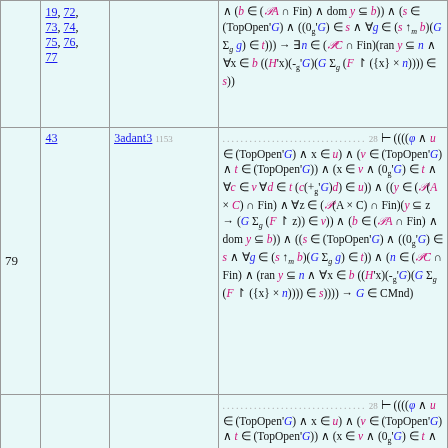| # | Ref | Theorem | Formula |
| --- | --- | --- | --- |
|  | 19, 72, 73, 74, 75, 76, 77 |  | ∧ (b ∈ (𝒫A ∩ Fin) ∧ dom y ⊆ b)) ∧ (s ∈ (TopOpen'G) ∧ ((0_g'G) ∈ s ∧ ∀g ∈ (s ↑_m b)(G Σ_g g) ∈ t))) → ∃n ∈ (𝒫C ∩ Fin)(ran y ⊆ n ∧ ∀x ∈ b ((H'x)(-_g'G)(G Σ_g (F ↾ ({x} × n))))) ∈ s)) |
| 79 | 43 | 3adant3 1153 | ...28 ⊢ ((((φ ∧ u ∈ (TopOpen'G) ∧ x ∈ u) ∧ (v ∈ (TopOpen'G) ∧ t ∈ (TopOpen'G)) ∧ (x ∈ v ∧ (0_g'G) ∈ t ∧ ∀c ∈ v ∀d ∈ t (c(+_g'G)d) ∈ u)) ∧ ((y ∈ (𝒫(A × C) ∩ Fin) ∧ ∀z ∈ (𝒫(A × C) ∩ Fin)(y ⊆ z → (G Σ_g (F ↾ z)) ∈ v)) ∧ (b ∈ (𝒫A ∩ Fin) ∧ dom y ⊆ b)) ∧ ((s ∈ (TopOpen'G) ∧ ((0_g'G) ∈ s ∧ ∀g ∈ (s ↑_m b)(G Σ_g g) ∈ t)) ∧ (n ∈ (𝒫C ∩ Fin) ∧ (ran y ⊆ n ∧ ∀x ∈ b ((H'x)(-_g'G)(G Σ_g (F ↾ ({x} × n)))) ∈ s)))) → G ∈ CMnd) |
| 80 | 61 | 3adant3 | ...28 ⊢ ((((φ ∧ u ∈ (TopOpen'G) ∧ x ∈ u) ∧ (v ∈ (TopOpen'G) ∧ t ∈ (TopOpen'G)) ∧ (x ∈ v ∧ (0_g'G) ∈ t ∧ ∀c ∈ v ∀d ∈ t (c(+_g'G)d) ∈ u)) ∧ ((y ∈ (𝒫(A × C) ∩ Fin) ∧ ∀z ∈ (𝒫(A × C) ∩ Fin)(y ⊆ z →... |